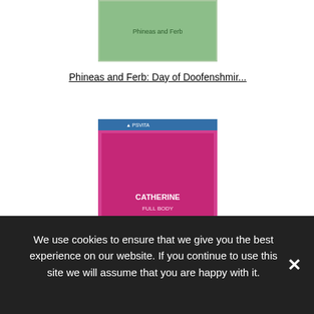[Figure (screenshot): Phineas and Ferb: Day of Doofenshmir... game cover image]
Phineas and Ferb: Day of Doofenshmir...
[Figure (screenshot): Catherine: Full Body PS Vita game cover image]
Catherine: Full Body
[Figure (screenshot): Himouto! Umaru-chan Himouto Ikusei K... PS Vita game cover image]
Himouto! Umaru-chan Himouto Ikusei K...
We use cookies to ensure that we give you the best experience on our website. If you continue to use this site we will assume that you are happy with it.